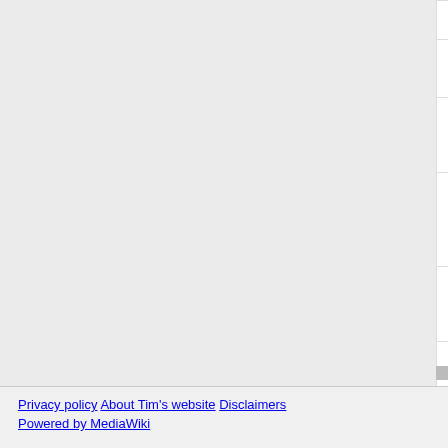| Page category | Key | Description |
| --- | --- | --- |
| Pages with broken file links | broken-file-category | The page con… embed a file w… |
| Pages where node count is exceeded | node-count-exceeded-category | The page exc… |
| Pages where expansion depth is exceeded | expansion-depth-exceeded-category | The page exc… depth. |
| Pages with ignored display titles | restricted-displaytitle-ignored | The page has… because it is n… actual title. |
| Pages with template loops | template-loop-category | The page con… template whic… |
Privacy policy  About Tim's website  Disclaimers
Powered by MediaWiki